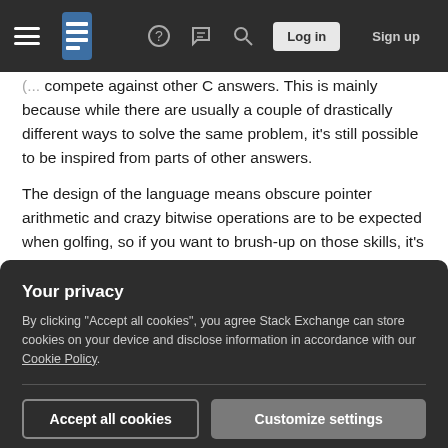Stack Exchange navigation bar with logo, help, chat, search, Log in, Sign up
(... compete against other C answers. This is mainly because while there are usually a couple of drastically different ways to solve the same problem, it's still possible to be inspired from parts of other answers.
The design of the language means obscure pointer arithmetic and crazy bitwise operations are to be expected when golfing, so if you want to brush-up on those skills, it's ideal. Also the built-in function names are long (but not C#-long), so you'll need to
Your privacy
By clicking "Accept all cookies", you agree Stack Exchange can store cookies on your device and disclose information in accordance with our Cookie Policy.
Accept all cookies | Customize settings
precedence, standard library functions, pointer